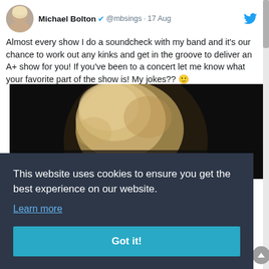Michael Bolton @mbsings · 17 Aug
Almost every show I do a soundcheck with my band and it's our chance to work out any kinks and get in the groove to deliver an A+ show for you! If you've been to a concert let me know what your favorite part of the show is! My jokes?? 🙂
[Figure (photo): Photo of Michael Bolton with blonde hair against a dark background, partially visible]
This website uses cookies to ensure you get the best experience on our website.
Learn more
Got it!